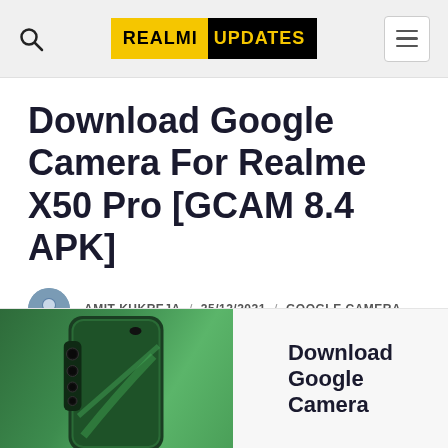REALMI UPDATES
Download Google Camera For Realme X50 Pro [GCAM 8.4 APK]
AMIT KUKREJA / 25/12/2021 / GOOGLE CAMERA
[Figure (photo): Photo of a green Realme X50 Pro smartphone with text 'Download Google Camera' on the right side]